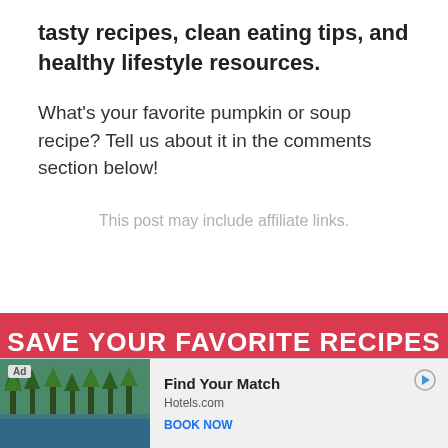tasty recipes, clean eating tips, and healthy lifestyle resources.
What's your favorite pumpkin or soup recipe? Tell us about it in the comments section below!
This post may include affiliate links.
SAVE YOUR FAVORITE RECIPES
Create account... ess
[Figure (screenshot): Advertisement overlay showing a hotel/resort lake scene with trees. Ad label, 'Find Your Match' headline, Hotels.com source, and 'BOOK NOW' call-to-action button.]